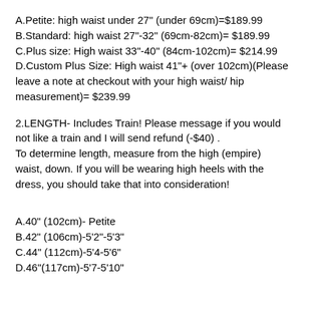A.Petite: high waist under 27" (under 69cm)=$189.99
B.Standard: high waist 27"-32" (69cm-82cm)= $189.99
C.Plus size: High waist 33"-40" (84cm-102cm)= $214.99
D.Custom Plus Size: High waist 41"+ (over 102cm)(Please leave a note at checkout with your high waist/ hip measurement)= $239.99
2.LENGTH- Includes Train! Please message if you would not like a train and I will send refund (-$40) . To determine length, measure from the high (empire) waist, down. If you will be wearing high heels with the dress, you should take that into consideration!
A.40" (102cm)- Petite
B.42" (106cm)-5'2"-5'3"
C.44" (112cm)-5'4-5'6"
D.46"(117cm)-5'7-5'10"